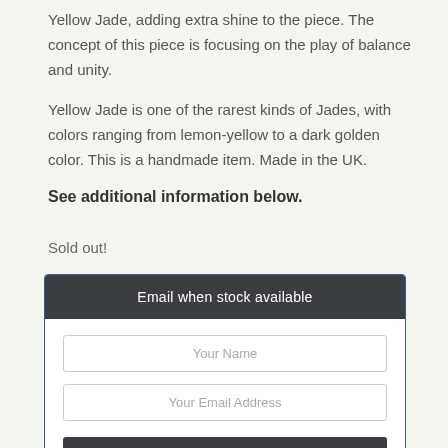Yellow Jade, adding extra shine to the piece. The concept of this piece is focusing on the play of balance and unity.
Yellow Jade is one of the rarest kinds of Jades, with colors ranging from lemon-yellow to a dark golden color. This is a handmade item. Made in the UK.
See additional information below.
Sold out!
Email when stock available
Your Name
Your Email Address
Subscribe Now